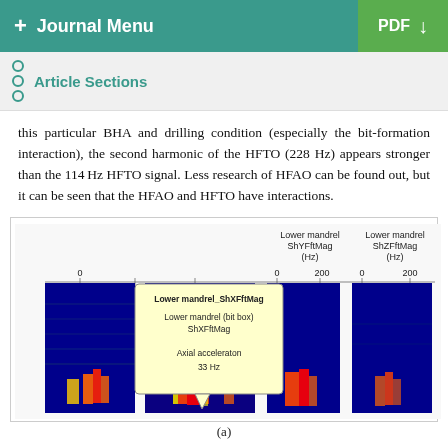+ Journal Menu | PDF ↓
Article Sections
this particular BHA and drilling condition (especially the bit-formation interaction), the second harmonic of the HFTO (228 Hz) appears stronger than the 114 Hz HFTO signal. Less research of HFAO can be found out, but it can be seen that the HFAO and HFTO have interactions.
[Figure (other): Spectrogram panels showing Lower mandrel ShXFftMag, Lower mandrel (bit box) ShXFftMag, Lower mandrel ShYFftMag (Hz), and Lower mandrel ShZFftMag (Hz). A tooltip overlay shows labels: Lower mandrel_ShXFftMag, Lower mandrel (bit box) ShXFftMag, Axial acceleraton 33 Hz. Axes show 0 and 200 Hz. Color maps show blue-green-yellow-red intensity.]
(a)